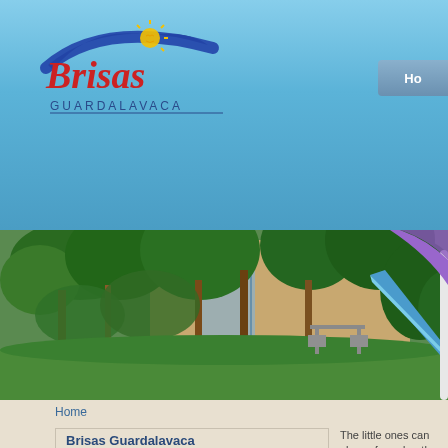[Figure (logo): Brisas Guardalavaca hotel logo with blue wave arc, red cursive 'Brisas' text and sun icon, blue uppercase 'GUARDALAVACA' text below]
[Figure (photo): Child climbing up a blue plastic playground slide outdoors, with tropical trees and a building in the background, green lawn]
Home
Brisas Guardalavaca
Virtual Tour
Reservation
The little ones can play safe and or they just find their own way to activities they love. Parents hav